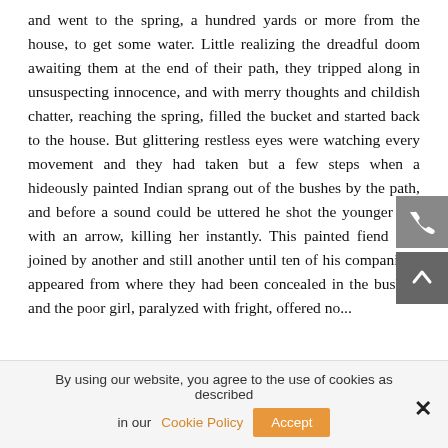and went to the spring, a hundred yards or more from the house, to get some water. Little realizing the dreadful doom awaiting them at the end of their path, they tripped along in unsuspecting innocence, and with merry thoughts and childish chatter, reaching the spring, filled the bucket and started back to the house. But glittering restless eyes were watching every movement and they had taken but a few steps when a hideously painted Indian sprang out of the bushes by the path, and before a sound could be uttered he shot the younger girl with an arrow, killing her instantly. This painted fiend was joined by another and still another until ten of his companions appeared from where they had been concealed in the bushes, and the poor girl, paralyzed with fright, offered no...
By using our website, you agree to the use of cookies as described in our Cookie Policy  Accept